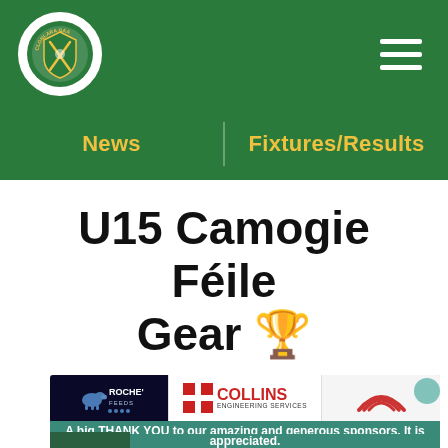[Figure (logo): Green circular GAA club crest logo on white circle background in top-left of green header]
News  |  Fixtures/Results
U15 Camogie Féile Gear 🏆
[Figure (infographic): Sponsor banner showing logos: Roche's Feeds, Collins Engineering Services, Conack, with text 'A big THANK YOU to our amazing and generous sponsors. It is very much appreciated.']